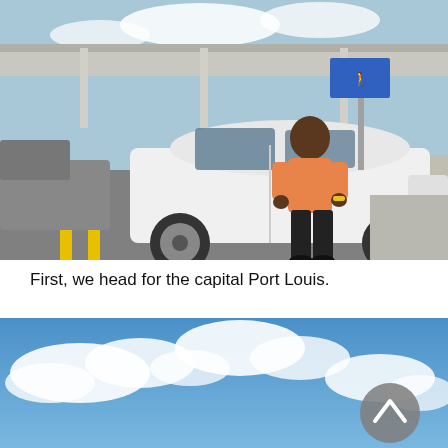[Figure (photo): A man in an orange short-sleeved shirt and black trousers stands next to a white sedan car in an airport pickup area. Yellow lines are visible on the road. A modern airport terminal canopy is visible in the background.]
First, we head for the capital Port Louis.
[Figure (photo): A partly cloudy blue sky with white fluffy clouds. A grey circular scroll-to-top button with an upward chevron is overlaid on the bottom right of the image.]